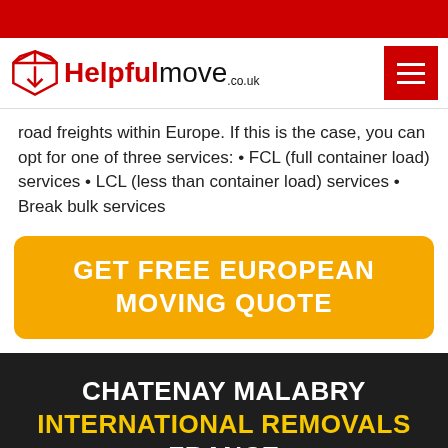[Figure (logo): Helpfulmove.co.uk logo with red box icon and text]
road freights within Europe. If this is the case, you can opt for one of three services: • FCL (full container load) services • LCL (less than container load) services • Break bulk services
GET FREE EUROPEAN MOVING QUOTE
CHATENAY MALABRY INTERNATIONAL REMOVALS FRANCE